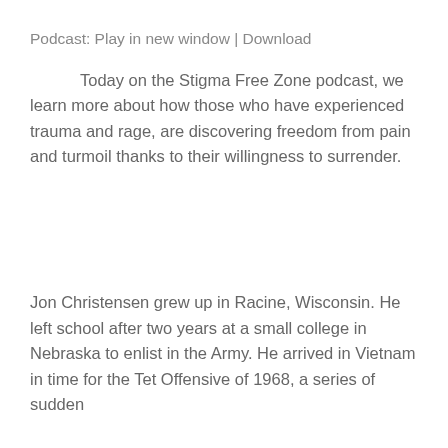Podcast: Play in new window | Download
Today on the Stigma Free Zone podcast, we learn more about how those who have experienced trauma and rage, are discovering freedom from pain and turmoil thanks to their willingness to surrender.
Jon Christensen grew up in Racine, Wisconsin. He left school after two years at a small college in Nebraska to enlist in the Army. He arrived in Vietnam in time for the Tet Offensive of 1968, a series of sudden